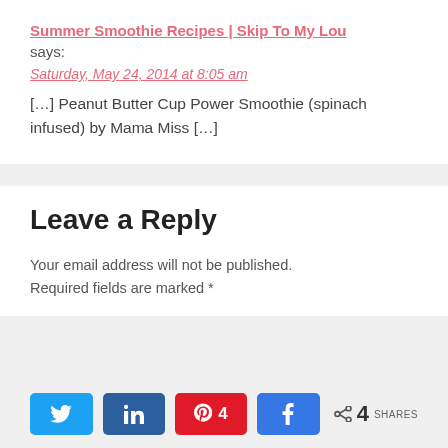Summer Smoothie Recipes | Skip To My Lou
says:
Saturday, May 24, 2014 at 8:05 am
[…] Peanut Butter Cup Power Smoothie (spinach infused) by Mama Miss […]
Leave a Reply
Your email address will not be published. Required fields are marked *
[Figure (other): Social share buttons: Twitter, LinkedIn, Pinterest (4), Facebook, and total shares count (4)]